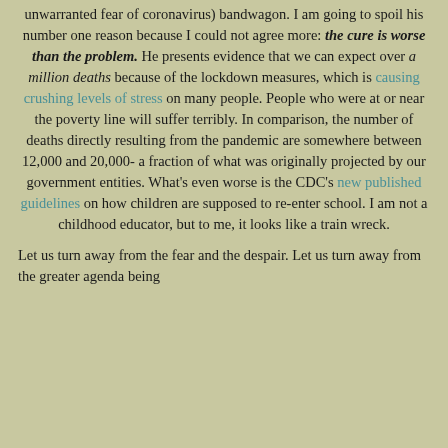unwarranted fear of coronavirus) bandwagon. I am going to spoil his number one reason because I could not agree more: the cure is worse than the problem. He presents evidence that we can expect over a million deaths because of the lockdown measures, which is causing crushing levels of stress on many people. People who were at or near the poverty line will suffer terribly. In comparison, the number of deaths directly resulting from the pandemic are somewhere between 12,000 and 20,000- a fraction of what was originally projected by our government entities. What's even worse is the CDC's new published guidelines on how children are supposed to re-enter school. I am not a childhood educator, but to me, it looks like a train wreck.
Let us turn away from the fear and the despair. Let us turn away from the greater agenda being